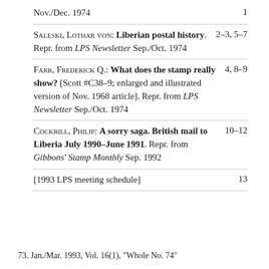Nov./Dec. 1974   1
Saleski, Lothar von: Liberian postal history. Repr. from LPS Newsletter Sep./Oct. 1974   2–3, 5–7
Farr, Frederick Q.: What does the stamp really show? [Scott #C38–9; enlarged and illustrated version of Nov. 1968 article]. Repr. from LPS Newsletter Sep./Oct. 1974   4, 8–9
Cockrill, Philip: A sorry saga. British mail to Liberia July 1990–June 1991. Repr. from Gibbons' Stamp Monthly Sep. 1992   10–12
[1993 LPS meeting schedule]   13
73. Jan./Mar. 1993, Vol. 16(1), "Whole No. 74"